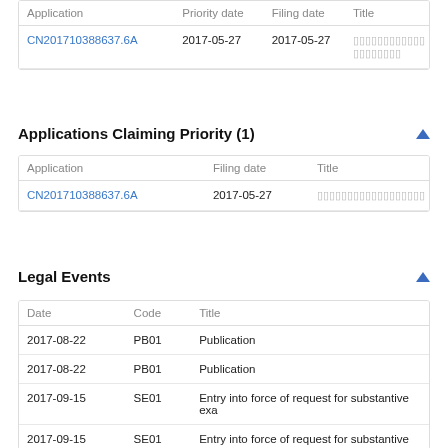| Application | Priority date | Filing date | Title |
| --- | --- | --- | --- |
| CN201710388637.6A | 2017-05-27 | 2017-05-27 | ▯▯▯▯▯▯▯▯▯▯▯▯▯▯▯▯▯▯▯▯ |
Applications Claiming Priority (1)
| Application | Filing date | Title |
| --- | --- | --- |
| CN201710388637.6A | 2017-05-27 | ▯▯▯▯▯▯▯▯▯▯▯▯▯▯▯▯▯▯ |
Legal Events
| Date | Code | Title |
| --- | --- | --- |
| 2017-08-22 | PB01 | Publication |
| 2017-08-22 | PB01 | Publication |
| 2017-09-15 | SE01 | Entry into force of request for substantive exa |
| 2017-09-15 | SE01 | Entry into force of request for substantive exa |